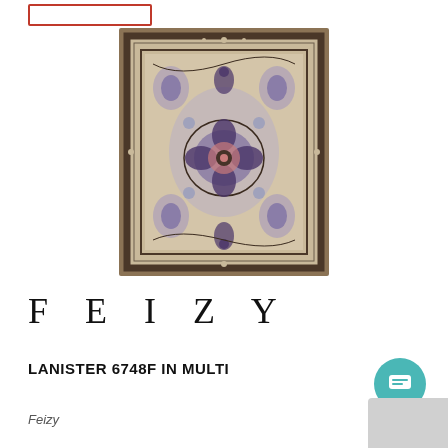[Figure (photo): A traditional Persian-style area rug with beige/cream background, intricate floral and medallion pattern in dark brown/charcoal outlines with lavender/blue accents, featuring a central medallion and ornate border.]
FEIZY
LANISTER 6748F IN MULTI
Feizy